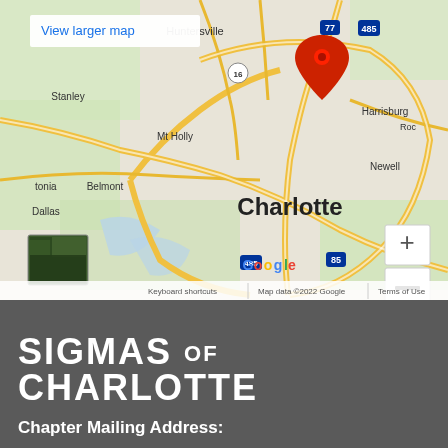[Figure (map): Google Maps screenshot showing the Charlotte, NC metro area with a red location pin dropped north of Charlotte near I-485/I-77 interchange. Shows surrounding areas including Huntersville, Harrisburg, Mt Holly, Belmont, Stanley, Dallas, Newell, Mint Hill. Map controls include zoom in/out buttons and satellite view thumbnail. Bottom bar shows Keyboard shortcuts, Map data ©2022 Google, Terms of Use. Top left shows 'View larger map' link.]
SIGMAS OF CHARLOTTE
Chapter Mailing Address: